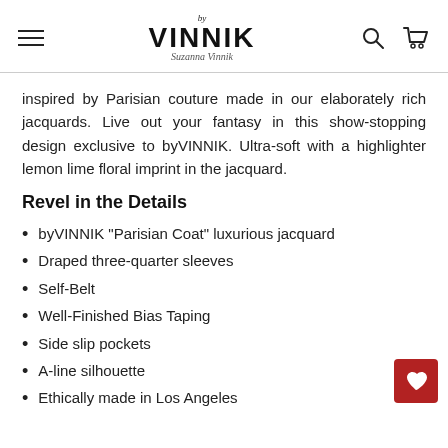by VINNIK Suzanna Vinnik — navigation header with logo, search and cart icons
inspired by Parisian couture made in our elaborately rich jacquards. Live out your fantasy in this show-stopping design exclusive to byVINNIK. Ultra-soft with a highlighter lemon lime floral imprint in the jacquard.
Revel in the Details
byVINNIK "Parisian Coat" luxurious jacquard
Draped three-quarter sleeves
Self-Belt
Well-Finished Bias Taping
Side slip pockets
A-line silhouette
Ethically made in Los Angeles